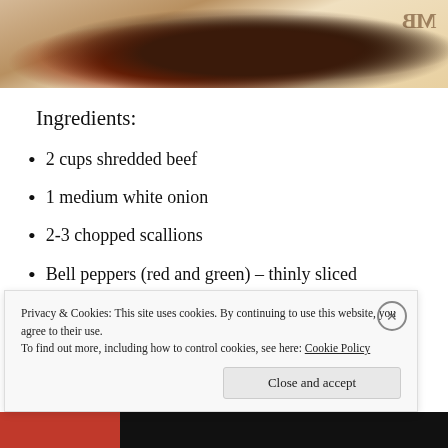[Figure (photo): Partial photo of a plated food dish — appears to be shredded beef with vegetables on a white plate, with a logo watermark in the upper right corner.]
Ingredients:
2 cups shredded beef
1 medium white onion
2-3 chopped scallions
Bell peppers (red and green) – thinly sliced
1 tablespoon cornstarch
Salt and pepper (to taste)
Privacy & Cookies: This site uses cookies. By continuing to use this website, you agree to their use.
To find out more, including how to control cookies, see here: Cookie Policy
Close and accept